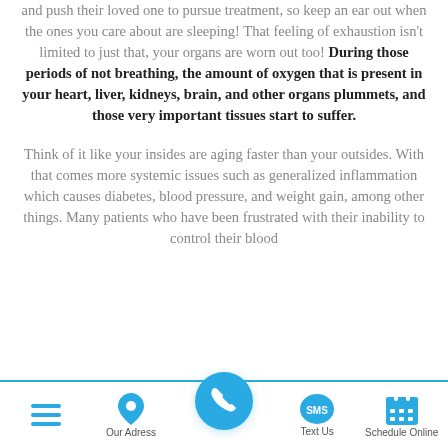and push their loved one to pursue treatment, so keep an ear out when the ones you care about are sleeping! That feeling of exhaustion isn't limited to just that, your organs are worn out too! During those periods of not breathing, the amount of oxygen that is present in your heart, liver, kidneys, brain, and other organs plummets, and those very important tissues start to suffer.
Think of it like your insides are aging faster than your outsides. With that comes more systemic issues such as generalized inflammation which causes diabetes, blood pressure, and weight gain, among other things. Many patients who have been frustrated with their inability to control their blood
Our Adress   [call]   Text Us   Schedule Online